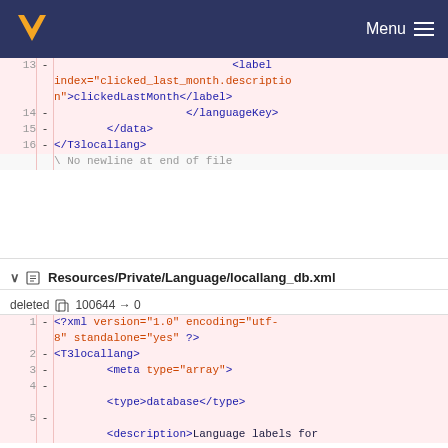[Figure (screenshot): Navigation bar with orange V logo and Menu button with hamburger icon on dark blue background]
Code diff showing lines 13-16 and a no-newline marker for a locallang XML file
Resources/Private/Language/locallang_db.xml
deleted 100644 → 0
Code diff showing lines 1-5 of deleted locallang_db.xml file